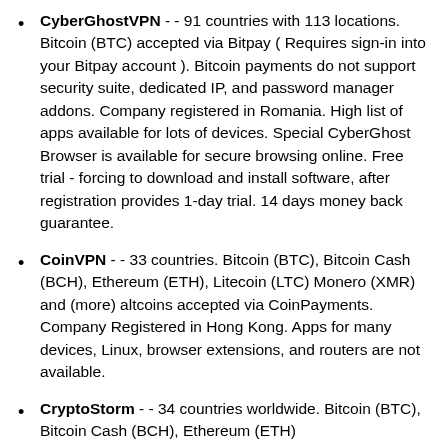CyberGhostVPN - - 91 countries with 113 locations. Bitcoin (BTC) accepted via Bitpay ( Requires sign-in into your Bitpay account ). Bitcoin payments do not support security suite, dedicated IP, and password manager addons. Company registered in Romania. High list of apps available for lots of devices. Special CyberGhost Browser is available for secure browsing online. Free trial - forcing to download and install software, after registration provides 1-day trial. 14 days money back guarantee.
CoinVPN - - 33 countries. Bitcoin (BTC), Bitcoin Cash (BCH), Ethereum (ETH), Litecoin (LTC) Monero (XMR) and (more) altcoins accepted via CoinPayments. Company Registered in Hong Kong. Apps for many devices, Linux, browser extensions, and routers are not available.
CryptoStorm - - 34 countries worldwide. Bitcoin (BTC), Bitcoin Cash (BCH), Ethereum (ETH)...